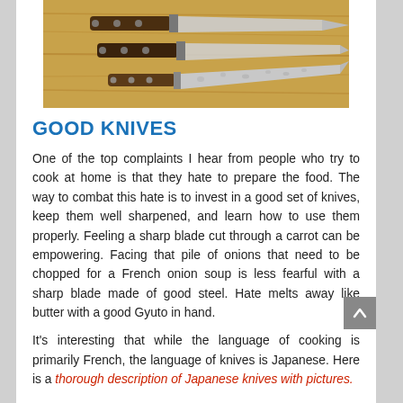[Figure (photo): Three kitchen knives laid on a wooden cutting board — two with dark wooden handles and one with a hammered Damascus-style blade.]
GOOD KNIVES
One of the top complaints I hear from people who try to cook at home is that they hate to prepare the food. The way to combat this hate is to invest in a good set of knives, keep them well sharpened, and learn how to use them properly. Feeling a sharp blade cut through a carrot can be empowering. Facing that pile of onions that need to be chopped for a French onion soup is less fearful with a sharp blade made of good steel. Hate melts away like butter with a good Gyuto in hand.
It's interesting that while the language of cooking is primarily French, the language of knives is Japanese. Here is a thorough description of Japanese knives with pictures.